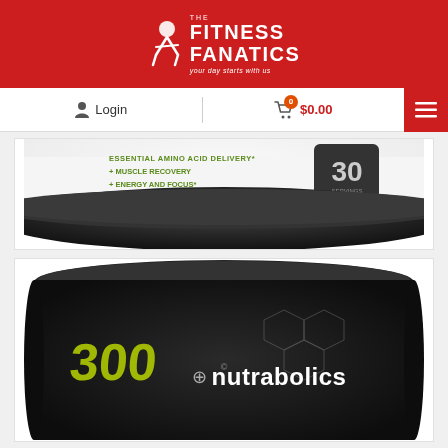The Fitness Fanatics — your day starts with us
Login | 0 $0.00
[Figure (photo): Close-up of bottom portion of a supplement tub showing green text: Essential Amino Acid Delivery, Muscle Recovery, Energy and Focus, with '30 servings' badge on black lid]
[Figure (photo): Nutrabolics supplement tub in black with yellow-green accent text, showing brand name 'nutrabolics' and partial product name on the label]